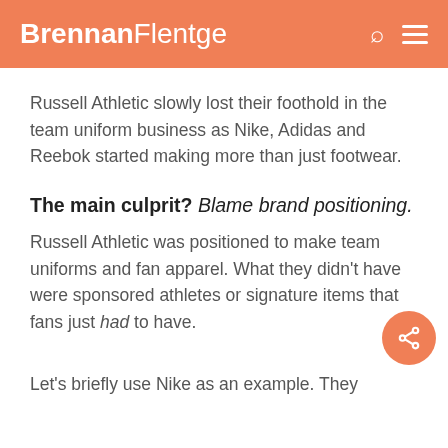BrennanFlentge
Russell Athletic slowly lost their foothold in the team uniform business as Nike, Adidas and Reebok started making more than just footwear.
The main culprit? Blame brand positioning.
Russell Athletic was positioned to make team uniforms and fan apparel. What they didn't have were sponsored athletes or signature items that fans just had to have.
Let's briefly use Nike as an example. They